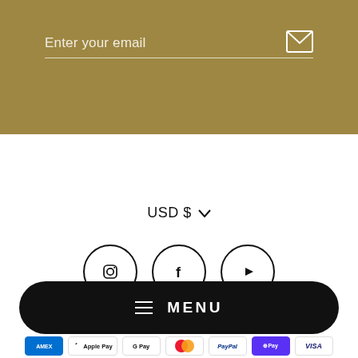Enter your email
USD $
[Figure (infographic): Social media icons in circles: Instagram, Facebook, YouTube]
MENU
[Figure (infographic): Payment method icons: AMEX, Apple Pay, Google Pay, Mastercard, PayPal, Shop Pay, VISA]